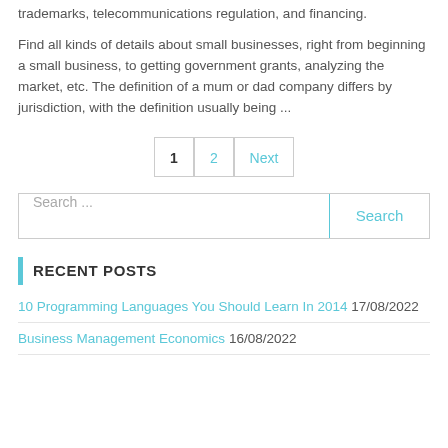trademarks, telecommunications regulation, and financing.
Find all kinds of details about small businesses, right from beginning a small business, to getting government grants, analyzing the market, etc. The definition of a mum or dad company differs by jurisdiction, with the definition usually being ...
1  2  Next
Search ...  Search
RECENT POSTS
10 Programming Languages You Should Learn In 2014 17/08/2022
Business Management Economics 16/08/2022